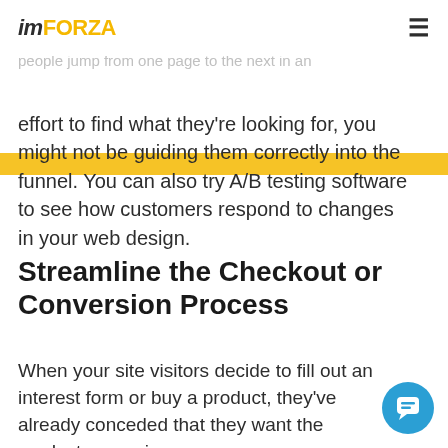imFORZA
If you're worried your calls-to-action aren't converting, look to your metrics. If people jump from one page to the next in an effort to find what they're looking for, you might not be guiding them correctly into the funnel. You can also try A/B testing software to see how customers respond to changes in your web design.
Streamline the Checkout or Conversion Process
When your site visitors decide to fill out an interest form or buy a product, they've already conceded that they want the product or service.